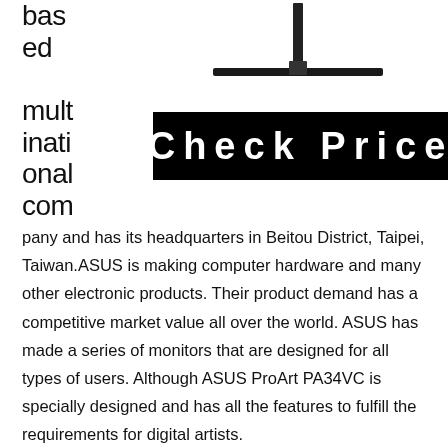based multinational com
[Figure (photo): ASUS monitor on a stand, shown from above, black and slim profile]
[Figure (other): Black button with white bold text reading 'Check Price']
pany and has its headquarters in Beitou District, Taipei, Taiwan.ASUS is making computer hardware and many other electronic products. Their product demand has a competitive market value all over the world. ASUS has made a series of monitors that are designed for all types of users. Although ASUS ProArt PA34VC is specially designed and has all the features to fulfill the requirements for digital artists.
ASUS ProArt PA34VC has a sleek and curvy design with thin narrow bezels and a slim metal base. The color of this monitor is black, and with its large beautifully designed 13.5